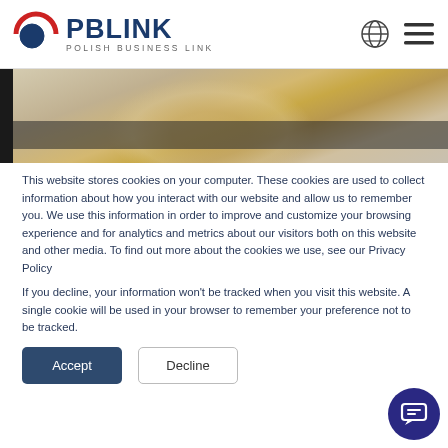PBLINK POLISH BUSINESS LINK
[Figure (photo): Blurred photo of a person with blond hair, partially visible, with a dark vertical bar on the left edge]
This website stores cookies on your computer. These cookies are used to collect information about how you interact with our website and allow us to remember you. We use this information in order to improve and customize your browsing experience and for analytics and metrics about our visitors both on this website and other media. To find out more about the cookies we use, see our Privacy Policy
If you decline, your information won't be tracked when you visit this website. A single cookie will be used in your browser to remember your preference not to be tracked.
Accept  Decline